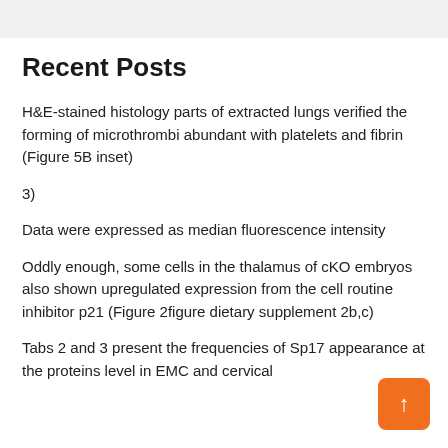Recent Posts
H&E-stained histology parts of extracted lungs verified the forming of microthrombi abundant with platelets and fibrin (Figure 5B inset)
3)
Data were expressed as median fluorescence intensity
Oddly enough, some cells in the thalamus of cKO embryos also shown upregulated expression from the cell routine inhibitor p21 (Figure 2figure dietary supplement 2b,c)
Tabs 2 and 3 present the frequencies of Sp17 appearance at the proteins level in EMC and cervical